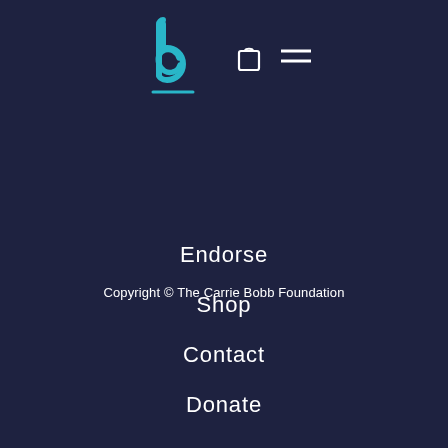[Figure (logo): The Carrie Bobb Foundation logo: a stylized blue 'b' and 'c' letterform with a teal/cyan color, with a horizontal line underneath, centered at top of page. Two icons to the right: a shopping bag outline and a hamburger menu (three horizontal lines), all in white/light color on dark navy background.]
Endorse
Shop
Contact
Donate
Copyright © The Carrie Bobb Foundation